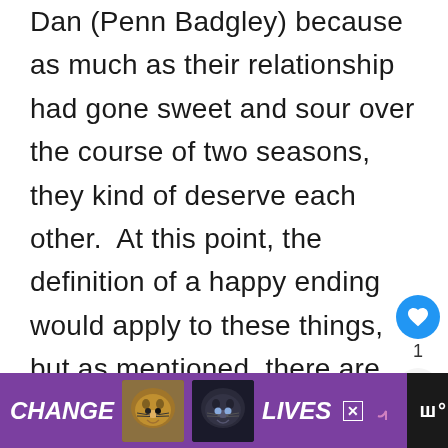Dan (Penn Badgley) because as much as their relationship had gone sweet and sour over the course of two seasons, they kind of deserve each other.  At this point, the definition of a happy ending would apply to these things, but as mentioned, there are other possibilities, including the off-chance that the writers might actually labor to make the Blair and Nate angle work beautifully.  Who knows?
[Figure (screenshot): Advertisement banner at the bottom of the page with dark background showing 'CHANGE LIVES' text with cat images on purple background, and a close button. Right side shows a music streaming service logo.]